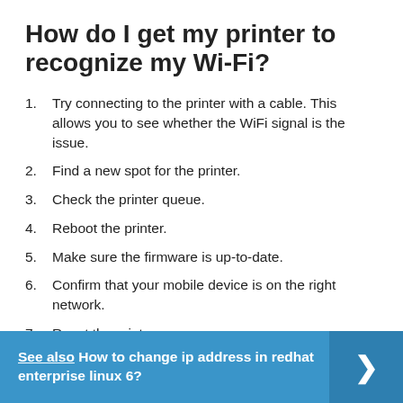How do I get my printer to recognize my Wi-Fi?
Try connecting to the printer with a cable. This allows you to see whether the WiFi signal is the issue.
Find a new spot for the printer.
Check the printer queue.
Reboot the printer.
Make sure the firmware is up-to-date.
Confirm that your mobile device is on the right network.
Reset the printer.
See also  How to change ip address in redhat enterprise linux 6?